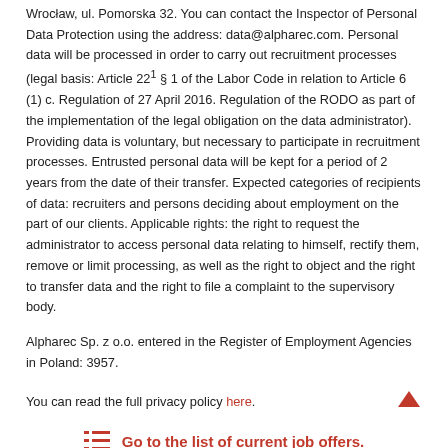Wrocław, ul. Pomorska 32. You can contact the Inspector of Personal Data Protection using the address: data@alpharec.com. Personal data will be processed in order to carry out recruitment processes (legal basis: Article 22¹ § 1 of the Labor Code in relation to Article 6 (1) c. Regulation of 27 April 2016. Regulation of the RODO as part of the implementation of the legal obligation on the data administrator). Providing data is voluntary, but necessary to participate in recruitment processes. Entrusted personal data will be kept for a period of 2 years from the date of their transfer. Expected categories of recipients of data: recruiters and persons deciding about employment on the part of our clients. Applicable rights: the right to request the administrator to access personal data relating to himself, rectify them, remove or limit processing, as well as the right to object and the right to transfer data and the right to file a complaint to the supervisory body.
Alpharec Sp. z o.o. entered in the Register of Employment Agencies in Poland: 3957.
You can read the full privacy policy here.
Go to the list of current job offers.